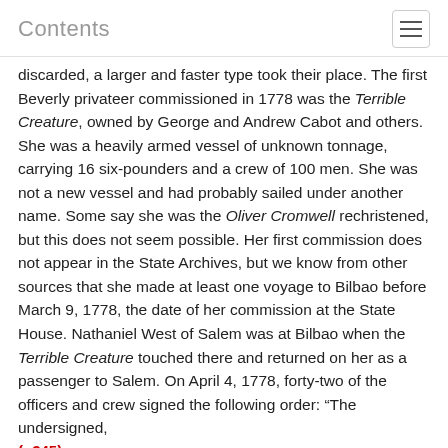Contents
discarded, a larger and faster type took their place. The first Beverly privateer commissioned in 1778 was the Terrible Creature, owned by George and Andrew Cabot and others. She was a heavily armed vessel of unknown tonnage, carrying 16 six-pounders and a crew of 100 men. She was not a new vessel and had probably sailed under another name. Some say she was the Oliver Cromwell rechristened, but this does not seem possible. Her first commission does not appear in the State Archives, but we know from other sources that she made at least one voyage to Bilbao before March 9, 1778, the date of her commission at the State House. Nathaniel West of Salem was at Bilbao when the Terrible Creature touched there and returned on her as a passenger to Salem. On April 4, 1778, forty-two of the officers and crew signed the following order: “The undersigned,
(p345)